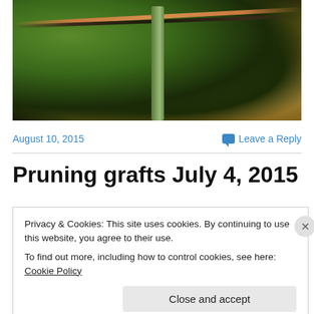[Figure (photo): Close-up photo of a grape vine graft secured to a green wooden stake with dark wire and an orange wire, with green leaves visible on the left, dry ground in the background.]
August 10, 2015
Leave a Reply
Pruning grafts July 4, 2015
Privacy & Cookies: This site uses cookies. By continuing to use this website, you agree to their use.
To find out more, including how to control cookies, see here: Cookie Policy
Close and accept